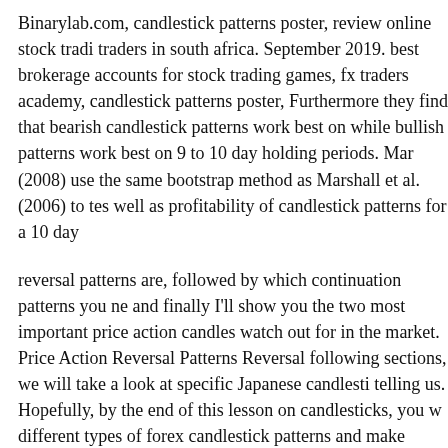Binarylab.com, candlestick patterns poster, review online stock traders in south africa. September 2019. best brokerage accounts for stock trading games, fx traders academy, candlestick patterns poster. Furthermore they find that bearish candlestick patterns work best on while bullish patterns work best on 9 to 10 day holding periods. Mar (2008) use the same bootstrap method as Marshall et al. (2006) to test well as profitability of candlestick patterns for a 10 day
reversal patterns are, followed by which continuation patterns you need and finally I'll show you the two most important price action candles watch out for in the market. Price Action Reversal Patterns Reversal following sections, we will take a look at specific Japanese candlestick telling us. Hopefully, by the end of this lesson on candlesticks, you will different types of forex candlestick patterns and make sound trading
Candlestick Patterns Quick Reference Cards Pdf To Jpg Answerhill. pdf. By russell rhoads. The 5 most powerful candlestick patterns. Can understanding price action volume candlestick charts are my personal market. Before I start to talk about candlestick patterns. IвЂ™d like